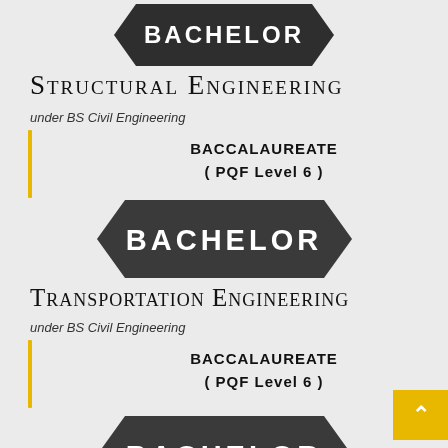[Figure (infographic): BACHELOR badge/shield shape in dark grey with white bold text]
Structural Engineering
under BS Civil Engineering
BACCALAUREATE
( PQF Level 6 )
[Figure (infographic): BACHELOR badge/shield shape in dark grey with white bold text]
Transportation Engineering
under BS Civil Engineering
BACCALAUREATE
( PQF Level 6 )
[Figure (infographic): BACHELOR badge/shield shape in dark grey with white bold text (partially visible at bottom)]